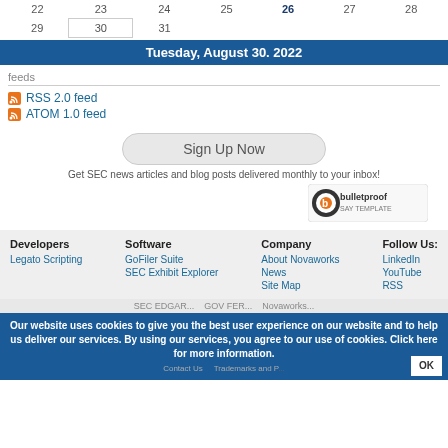| 22 | 23 | 24 | 25 | 26 | 27 | 28 |
| --- | --- | --- | --- | --- | --- | --- |
| 29 | 30 | 31 |  |  |  |  |
Tuesday, August 30. 2022
feeds
RSS 2.0 feed
ATOM 1.0 feed
Sign Up Now
Get SEC news articles and blog posts delivered monthly to your inbox!
[Figure (logo): bulletproof SAY TEMPLATE logo]
Developers
Legato Scripting
Software
GoFiler Suite
SEC Exhibit Explorer
Company
About Novaworks
News
Site Map
Follow Us:
LinkedIn
YouTube
RSS
Our website uses cookies to give you the best user experience on our website and to help us deliver our services. By using our services, you agree to our use of cookies. Click here for more information.
Contact Us    Trademarks and P...
OK